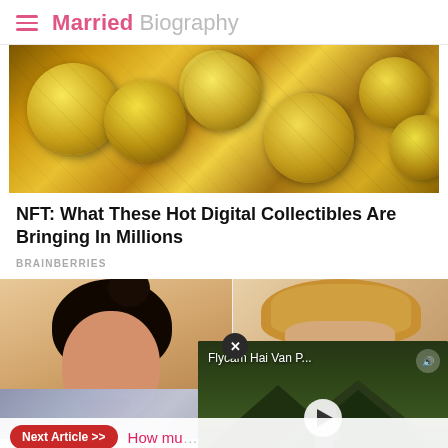Married Biography
[Figure (photo): Close-up photo of multiple gold coins piled on top of each other]
NFT: What These Hot Digital Collectibles Are Bringing In Millions
BRAINBERRIES
[Figure (photo): Photo of a woman with dark hair in a bun, smiling, overlaid with a video player showing a mountain road aerial view titled Flycam Hai Van P... with a play button, and a close button]
Next Article >> How much ... Worth in 2022? Learn more on Wire, Children